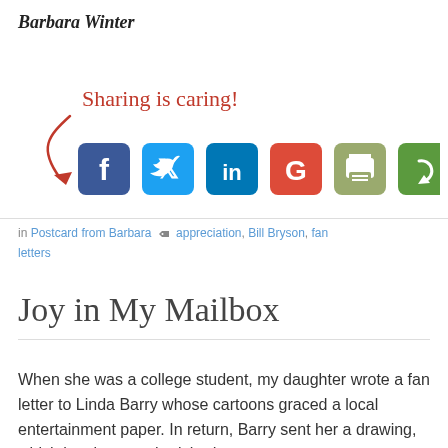Barbara Winter
[Figure (infographic): Sharing is caring! text in red handwritten font with red arrow pointing down to social media icons: Facebook, Twitter, LinkedIn, Google+, and two others]
in Postcard from Barbara  appreciation, Bill Bryson, fan letters
Joy in My Mailbox
When she was a college student, my daughter wrote a fan letter to Linda Barry whose cartoons graced a local entertainment paper. In return, Barry sent her a drawing, which has been a cherished